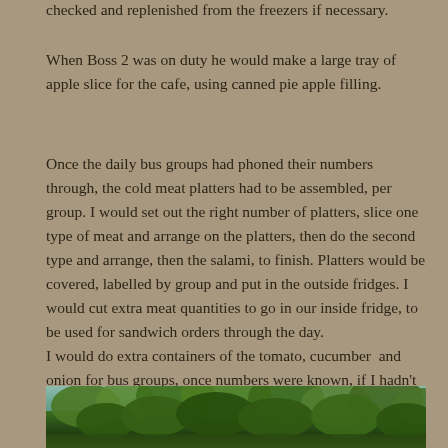checked and replenished from the freezers if necessary.
When Boss 2 was on duty he would make a large tray of apple slice for the cafe, using canned pie apple filling.
Once the daily bus groups had phoned their numbers through, the cold meat platters had to be assembled, per group. I would set out the right number of platters, slice one type of meat and arrange on the platters, then do the second type and arrange, then the salami, to finish. Platters would be covered, labelled by group and put in the outside fridges. I would cut extra meat quantities to go in our inside fridge, to be used for sandwich orders through the day.
I would do extra containers of the tomato, cucumber  and onion for bus groups, once numbers were known, if I hadn't guessed right, earlier.
[Figure (photo): Outdoor photograph showing trees with green foliage against a blue sky]